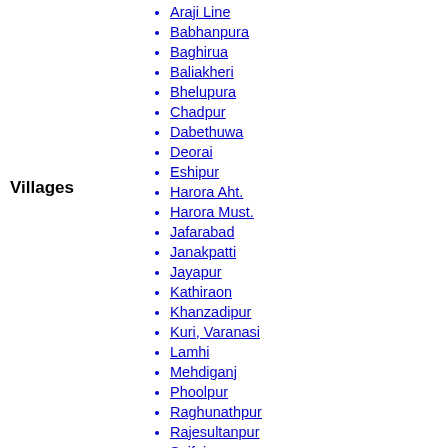Villages
Araji Line
Babhanpura
Baghirua
Baliakheri
Bhelupura
Chadpur
Dabethuwa
Deorai
Eshipur
Harora Aht.
Harora Must.
Jafarabad
Janakpatti
Jayapur
Kathiraon
Khanzadipur
Kuri, Varanasi
Lamhi
Mehdiganj
Phoolpur
Raghunathpur
Rajesultanpur
Saifai
Tisaura
Vyaspur